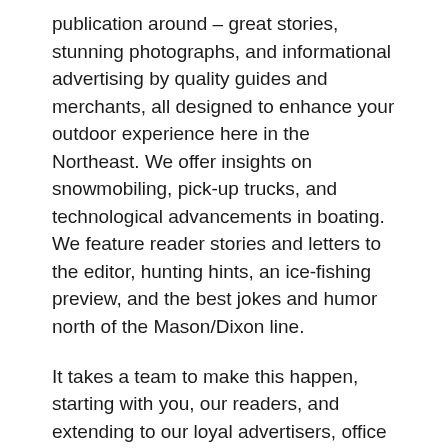publication around – great stories, stunning photographs, and informational advertising by quality guides and merchants, all designed to enhance your outdoor experience here in the Northeast. We offer insights on snowmobiling, pick-up trucks, and technological advancements in boating. We feature reader stories and letters to the editor, hunting hints, an ice-fishing preview, and the best jokes and humor north of the Mason/Dixon line.
It takes a team to make this happen, starting with you, our readers, and extending to our loyal advertisers, office managers, production folks, distributors and store-owners who carry each issue on their shelves. So enjoy!
Questions? Contact the editor at Will@MaineSportsman.com or the office staff